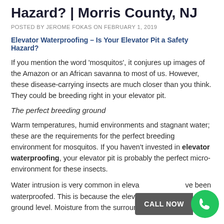Hazard? | Morris County, NJ
POSTED BY JEROME FOKAS ON FEBRUARY 1, 2019
Elevator Waterproofing – Is Your Elevator Pit a Safety Hazard?
If you mention the word 'mosquitos', it conjures up images of the Amazon or an African savanna to most of us. However, these disease-carrying insects are much closer than you think. They could be breeding right in your elevator pit.
The perfect breeding ground
Warm temperatures, humid environments and stagnant water; these are the requirements for the perfect breeding environment for mosquitos. If you haven't invested in elevator waterproofing, your elevator pit is probably the perfect micro-environment for these insects.
Water intrusion is very common in elevator pits that haven't been waterproofed. This is because the elevator pit lies below ground level. Moisture from the surrounding soil can therefore